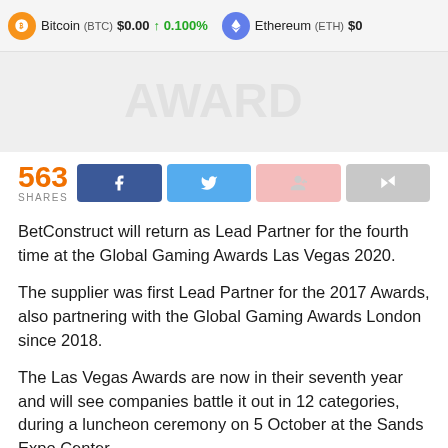Bitcoin (BTC) $0.00 ↑ 0.100%   Ethereum (ETH) $0
[Figure (photo): Promotional/article header image, light gray background with faint watermark text]
563 SHARES
BetConstruct will return as Lead Partner for the fourth time at the Global Gaming Awards Las Vegas 2020.
The supplier was first Lead Partner for the 2017 Awards, also partnering with the Global Gaming Awards London since 2018.
The Las Vegas Awards are now in their seventh year and will see companies battle it out in 12 categories, during a luncheon ceremony on 5 October at the Sands Expo Center.